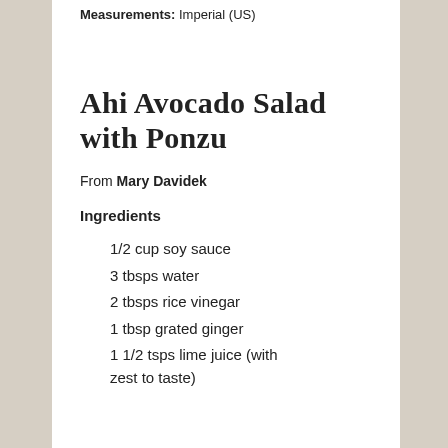Measurements: Imperial (US)
Ahi Avocado Salad with Ponzu
From Mary Davidek
Ingredients
1/2 cup soy sauce
3 tbsps water
2 tbsps rice vinegar
1 tbsp grated ginger
1 1/2 tsps lime juice (with zest to taste)